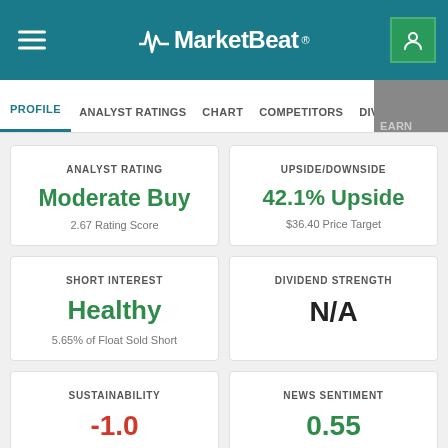MarketBeat
PROFILE | ANALYST RATINGS | CHART | COMPETITORS | DIVIDEND | EARNINGS
ANALYST RATING
Moderate Buy
2.67 Rating Score
UPSIDE/DOWNSIDE
42.1% Upside
$36.40 Price Target
SHORT INTEREST
Healthy
5.65% of Float Sold Short
DIVIDEND STRENGTH
N/A
SUSTAINABILITY
NEWS SENTIMENT